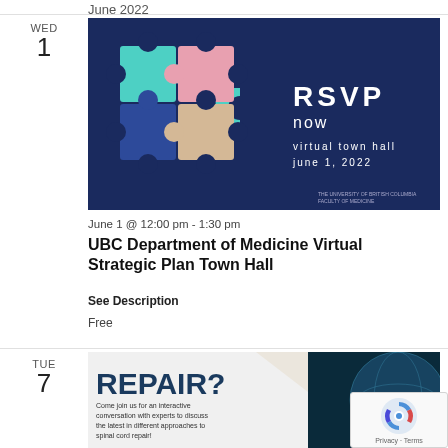June 2022
WED
1
[Figure (illustration): RSVP now virtual town hall June 1, 2022 — dark blue background with four interlocking puzzle pieces in teal, pink, tan, and dark blue colors. UBC Faculty of Medicine logo visible.]
June 1 @ 12:00 pm - 1:30 pm
UBC Department of Medicine Virtual Strategic Plan Town Hall
See Description
Free
TUE
7
[Figure (illustration): REPAIR? Come join us for an interactive conversation with experts to discuss the latest in different approaches to spinal cord repair! — dark background with globe/earth image on right.]